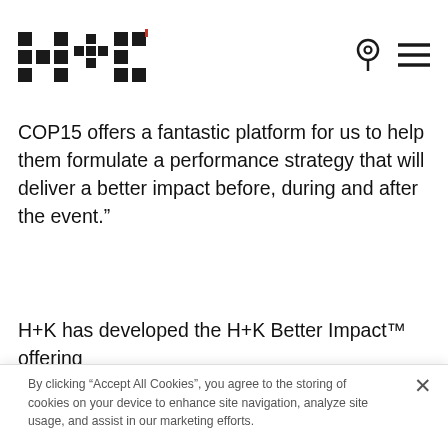H+K logo and navigation icons
COP15 offers a fantastic platform for us to help them formulate a performance strategy that will deliver a better impact before, during and after the event.”
H+K has developed the H+K Better Impact™ offering
By clicking “Accept All Cookies”, you agree to the storing of cookies on your device to enhance site navigation, analyze site usage, and assist in our marketing efforts.
Cookies Settings
Reject All
Accept All Cookies